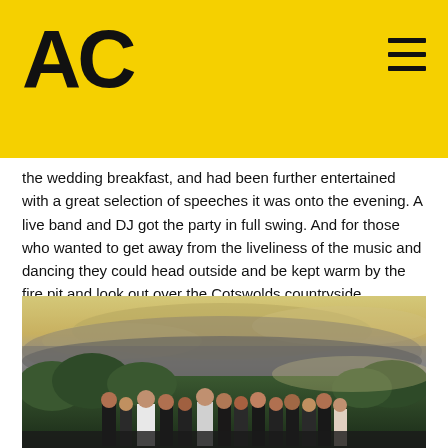[Figure (logo): AC logo in black on yellow background with hamburger menu icon]
the wedding breakfast, and had been further entertained with a great selection of speeches it was onto the evening. A live band and DJ got the party in full swing. And for those who wanted to get away from the liveliness of the music and dancing they could head outside and be kept warm by the fire pit and look out over the Cotswolds countryside.
I had a great time photographing the day and below is just a small selection of photos from the day.
[Figure (photo): Wedding group photo outdoors at sunset with dramatic cloudy sky, green trees in background, large group of wedding party members including bride in white dress]